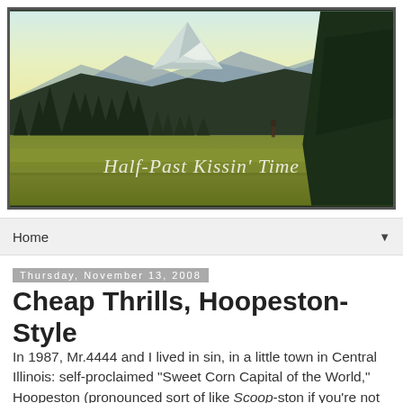[Figure (photo): Landscape photo of mountain scenery with conifer trees, open meadow, snow-capped mountain peak in background, person in distance, warm golden sky. Blog header image with text overlay 'Half-Past Kissin' Time' in cursive script.]
Home ▼
Thursday, November 13, 2008
Cheap Thrills, Hoopeston-Style
In 1987, Mr.4444 and I lived in sin, in a little town in Central Illinois: self-proclaimed "Sweet Corn Capital of the World," Hoopeston (pronounced sort of like Scoop-ston if you're not